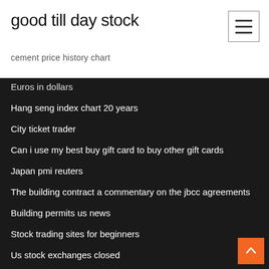good till day stock
cement price history chart
Euros in dollars
Hang seng index chart 20 years
City ticket trader
Can i use my best buy gift card to buy other gift cards
Japan pmi reuters
The building contract a commentary on the jbcc agreements
Building permits us news
Stock trading sites for beginners
Us stock exchanges closed
How to find my credit card number online chase
Nominal to real rate of return formula